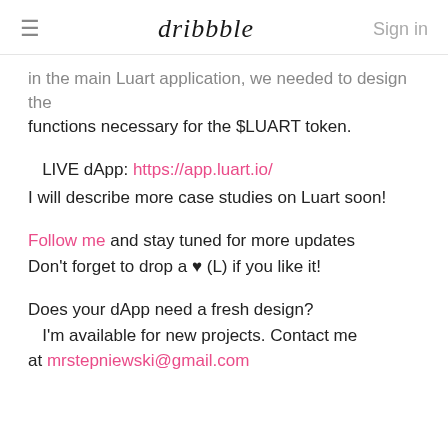≡  dribbble  Sign in
...in the main Luart application, we needed to design the functions necessary for the $LUART token.
LIVE dApp: https://app.luart.io/
I will describe more case studies on Luart soon!
Follow me and stay tuned for more updates
Don't forget to drop a ♥ (L) if you like it!
Does your dApp need a fresh design?
   I'm available for new projects. Contact me at mrstepniewski@gmail.com